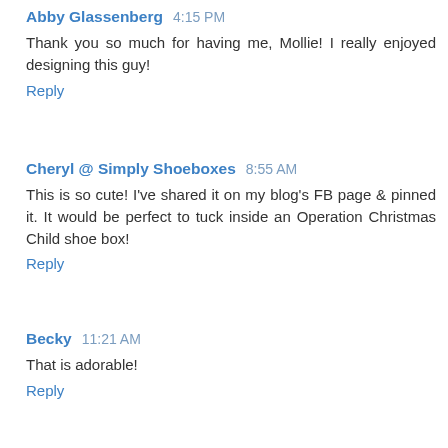Abby Glassenberg 4:15 PM
Thank you so much for having me, Mollie! I really enjoyed designing this guy!
Reply
Cheryl @ Simply Shoeboxes 8:55 AM
This is so cute! I've shared it on my blog's FB page & pinned it. It would be perfect to tuck inside an Operation Christmas Child shoe box!
Reply
Becky 11:21 AM
That is adorable!
Reply